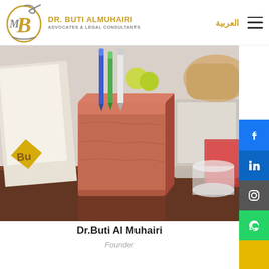DR. BUTI ALMUHAIRI ADVOCATES & LEGAL CONSULTANTS | العربية
[Figure (photo): Office desk scene with a terracotta/brick-colored pen holder containing pens and markers, a person's hand visible in background, documents and office items on desk]
Dr.Buti Al Muhairi
Founder